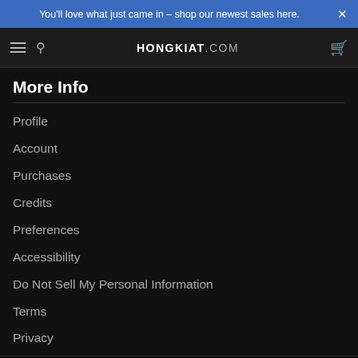You'll love what just came in - shop our newest sales here.  ×
HONGKIAT.COM
More Info
Profile
Account
Purchases
Credits
Preferences
Accessibility
Do Not Sell My Personal Information
Terms
Privacy
[Figure (logo): BBB Accredited Business badge with blue background]
Made in Venice, CA & powered by stackcommerce